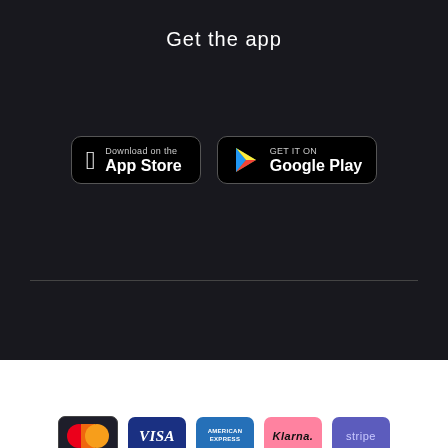Get the app
[Figure (logo): App Store and Google Play download buttons]
[Figure (logo): Payment method logos: Mastercard, Visa, American Express, Klarna, Stripe]
Privacy note   Cookie policy   Terms   Partnership Screening
All donations are handled by the WRLD Foundation (Org. ID No. 802526-9329), and the WRLD Foundation US Fund under fiscal sponsorship by the KBFUS, a registered 501(c)(3) charity.
Donate monthly